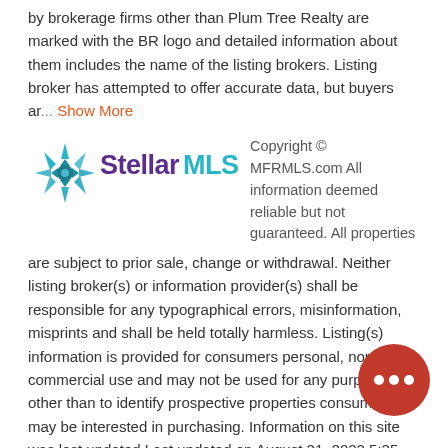by brokerage firms other than Plum Tree Realty are marked with the BR logo and detailed information about them includes the name of the listing brokers. Listing broker has attempted to offer accurate data, but buyers ar... Show More
[Figure (logo): Stellar MLS logo with snowflake/star icon in teal and blue, text 'Stellar MLS' in purple and teal]
Copyright © MFRMLS.com All information deemed reliable but not guaranteed. All properties are subject to prior sale, change or withdrawal. Neither listing broker(s) or information provider(s) shall be responsible for any typographical errors, misinformation, misprints and shall be held totally harmless. Listing(s) information is provided for consumers personal, non-commercial use and may not be used for any purpose other than to identify prospective properties consumers may be interested in purchasing. Information on this site was last updated Last updated on August 21, 2022 5:35 AM UTC The listing information on this page last changed on Last updated on August 21, 2022 5:35 AM UTCd. The data relating to real estate on this website comes in part from the Internet Data Exchange program of MFR MLS. All information deemed reliable but not guaranteed. All properties are subject to prior sale, change or withdrawal. Neither listing broker(s) or information provider(s)